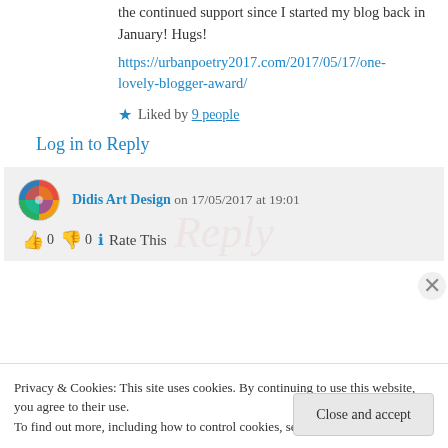the continued support since I started my blog back in January! Hugs!
https://urbanpoetry2017.com/2017/05/17/one-lovely-blogger-award/
★ Liked by 9 people
Log in to Reply
Didis Art Design on 17/05/2017 at 19:01
👍 0 👎 0 ℹ Rate This
Privacy & Cookies: This site uses cookies. By continuing to use this website, you agree to their use.
To find out more, including how to control cookies, see here: Cookie Policy
Close and accept